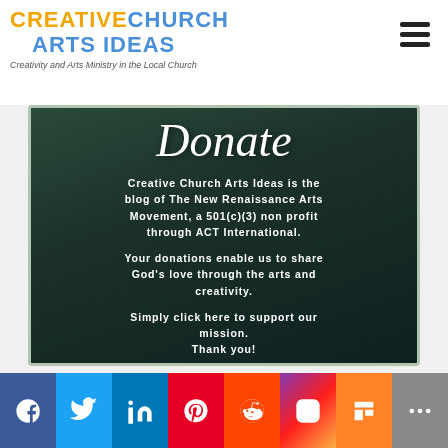CREATIVE CHURCH ARTS IDEAS — Creativity and Arts Ministry in the Local Church
[Figure (infographic): Dark green donation card with italic 'Donate' heading and white bold text describing The New Renaissance Arts Movement 501(c)(3) non-profit and donation call to action]
[Figure (infographic): Social media sharing bar with icons for Facebook, Twitter, LinkedIn, Pinterest, Reddit, Instagram, Mix, and More on a golden-orange background]